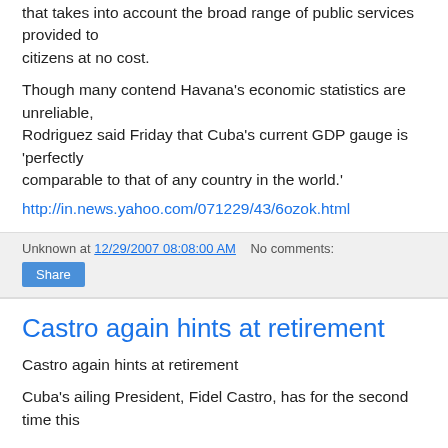that takes into account the broad range of public services provided to citizens at no cost.
Though many contend Havana's economic statistics are unreliable, Rodriguez said Friday that Cuba's current GDP gauge is 'perfectly comparable to that of any country in the world.'
http://in.news.yahoo.com/071229/43/6ozok.html
Unknown at 12/29/2007 08:08:00 AM   No comments:
Share
Castro again hints at retirement
Castro again hints at retirement
Cuba's ailing President, Fidel Castro, has for the second time this